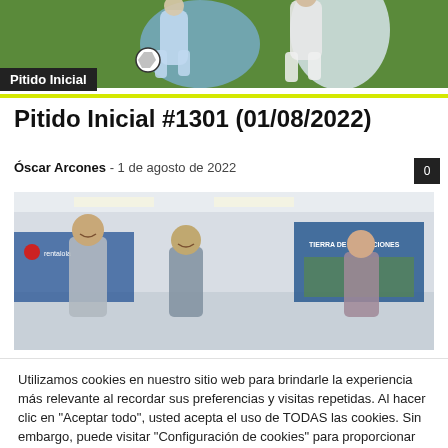[Figure (photo): Partial image showing soccer players in action, one in a light blue/white uniform with a ball]
Pitido Inicial
Pitido Inicial #1301 (01/08/2022)
Óscar Arcones · 1 de agosto de 2022
[Figure (photo): People smiling at a press conference or event; a banner reading 'TIERRA DE SENSACIONES' visible in background, red Rentalola logo on left]
Utilizamos cookies en nuestro sitio web para brindarle la experiencia más relevante al recordar sus preferencias y visitas repetidas. Al hacer clic en "Aceptar todo", usted acepta el uso de TODAS las cookies. Sin embargo, puede visitar "Configuración de cookies" para proporcionar un consentimiento controlado.
Configuración de cookies
Aceptar todo